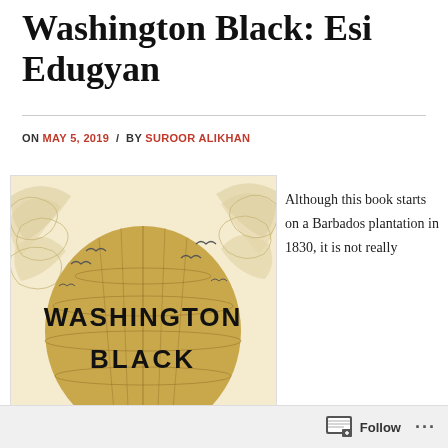Washington Black: Esi Edugyan
ON MAY 5, 2019  /  BY SUROOR ALIKHAN
[Figure (illustration): Book cover of 'Washington Black' featuring a hot air balloon with 'WASHINGTON BLACK' text against a cream/gold background with swirling clouds and birds]
Although this book starts on a Barbados plantation in 1830, it is not really
Follow  ...